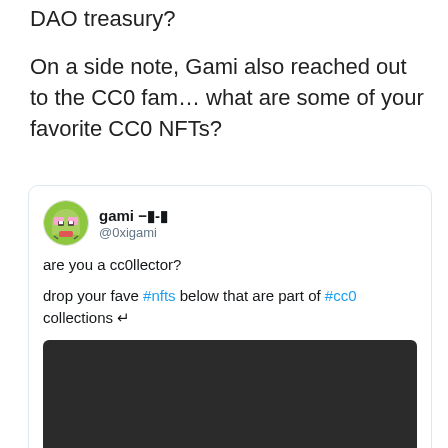DAO treasury?
On a side note, Gami also reached out to the CC0 fam… what are some of your favorite CC0 NFTs?
[Figure (screenshot): Tweet from @0xigami (gami) asking 'are you a cc0llector?' and 'drop your fave #nfts below that are part of #cc0 collections ↱' with an embedded video player showing 0:00 timestamp]
Tweet by gami (@0xigami) with embedded video